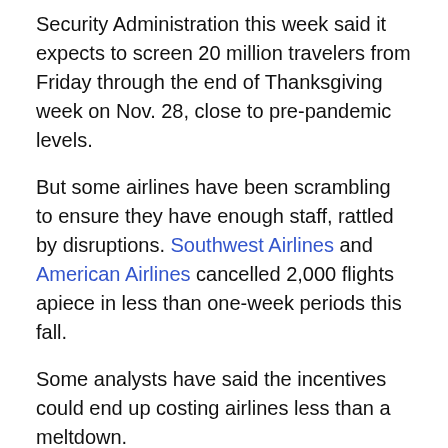Security Administration this week said it expects to screen 20 million travelers from Friday through the end of Thanksgiving week on Nov. 28, close to pre-pandemic levels.
But some airlines have been scrambling to ensure they have enough staff, rattled by disruptions. Southwest Airlines and American Airlines cancelled 2,000 flights apiece in less than one-week periods this fall.
Some analysts have said the incentives could end up costing airlines less than a meltdown.
Southwest has offered flight attendants and other operations employees 120,000 Rapid Rewards points, the carrier's frequent flyer program, for meeting attendance goals. Those points are worth more than $1,400. The airline has reported a high rate of sick calls.